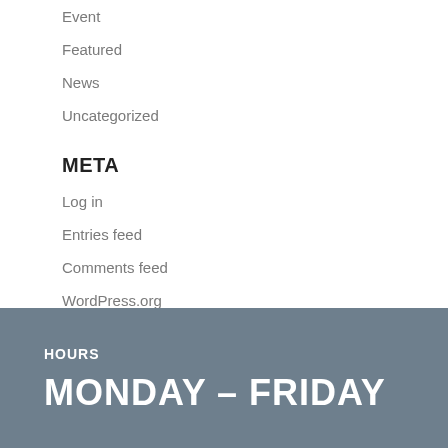Event
Featured
News
Uncategorized
META
Log in
Entries feed
Comments feed
WordPress.org
HOURS
MONDAY – FRIDAY